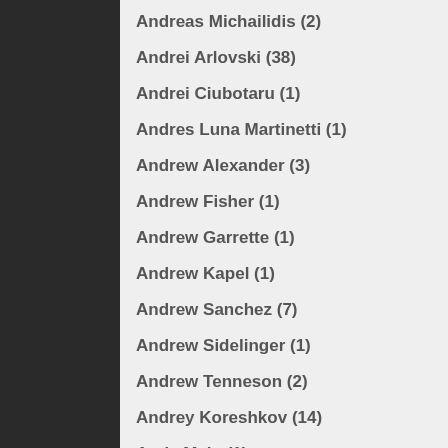Andreas Michailidis (2)
Andrei Arlovski (38)
Andrei Ciubotaru (1)
Andres Luna Martinetti (1)
Andrew Alexander (3)
Andrew Fisher (1)
Andrew Garrette (1)
Andrew Kapel (1)
Andrew Sanchez (7)
Andrew Sidelinger (1)
Andrew Tenneson (2)
Andrey Koreshkov (14)
Andy Main (1)
Andy Nguyen (1)
Andy Varela (2)